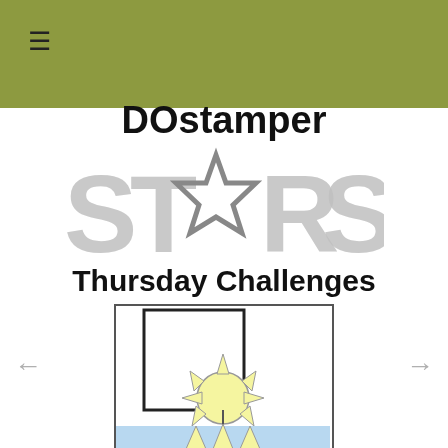[Figure (logo): DOstamper STARS Thursday Challenges logo with large grey STARS text and a star icon replacing the A]
[Figure (illustration): Card sketch showing a tall vertical rectangle outline with a yellow sunshine illustration at the bottom center and a light blue horizontal band across the bottom]